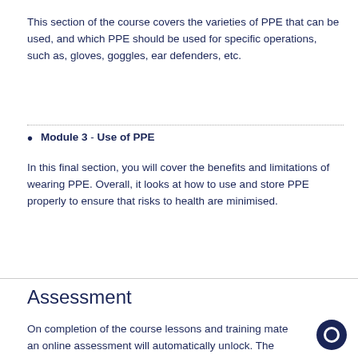This section of the course covers the varieties of PPE that can be used, and which PPE should be used for specific operations, such as, gloves, goggles, ear defenders, etc.
Module 3 - Use of PPE
In this final section, you will cover the benefits and limitations of wearing PPE. Overall, it looks at how to use and store PPE properly to ensure that risks to health are minimised.
Assessment
On completion of the course lessons and training mate an online assessment will automatically unlock. The